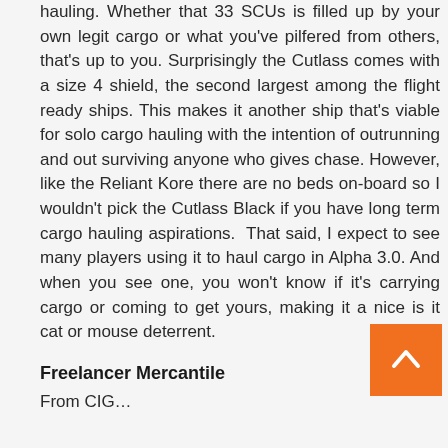hauling. Whether that 33 SCUs is filled up by your own legit cargo or what you've pilfered from others, that's up to you. Surprisingly the Cutlass comes with a size 4 shield, the second largest among the flight ready ships. This makes it another ship that's viable for solo cargo hauling with the intention of outrunning and out surviving anyone who gives chase. However, like the Reliant Kore there are no beds on-board so I wouldn't pick the Cutlass Black if you have long term cargo hauling aspirations. That said, I expect to see many players using it to haul cargo in Alpha 3.0. And when you see one, you won't know if it's carrying cargo or coming to get yours, making it a nice is it cat or mouse deterrent.
Freelancer Mercantile
From CIG...